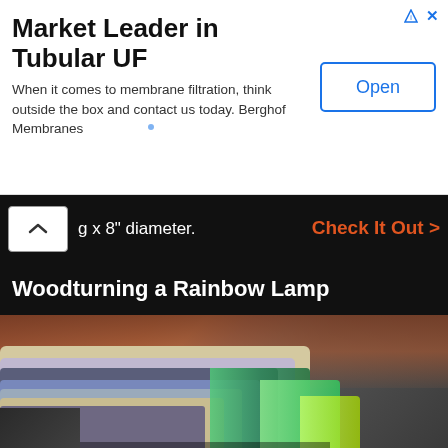[Figure (infographic): Advertisement banner for Berghof Membranes - Market Leader in Tubular UF with Open button]
g x 8" diameter.
Check It Out >
Woodturning a Rainbow Lamp
[Figure (photo): Close-up photo of hands working on a woodturning lathe producing a cylindrical piece with rainbow-colored stripes or layers]